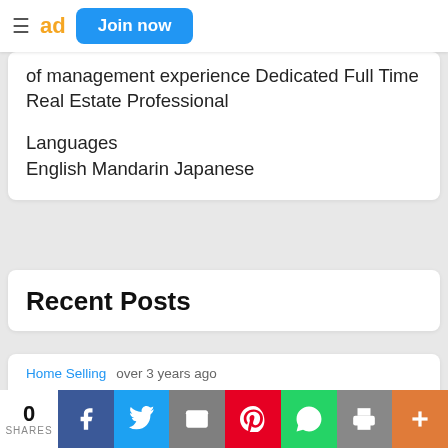Join now
of management experience Dedicated Full Time Real Estate Professional
Languages
English Mandarin Japanese
Recent Posts
Home Selling   over 3 years ago
Is Your Realtor® Keeping Up For YOU?!?!
0 SHARES